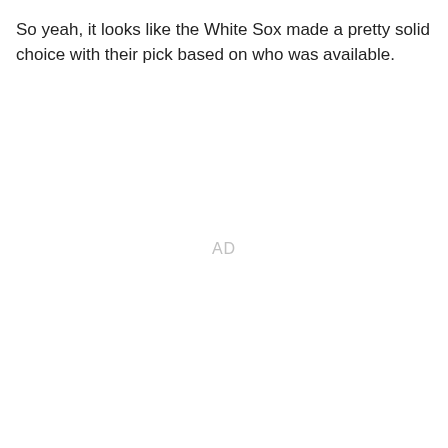So yeah, it looks like the White Sox made a pretty solid choice with their pick based on who was available.
AD